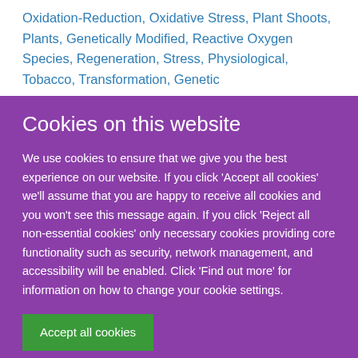Oxidation-Reduction, Oxidative Stress, Plant Shoots, Plants, Genetically Modified, Reactive Oxygen Species, Regeneration, Stress, Physiological, Tobacco, Transformation, Genetic
Cookies on this website
We use cookies to ensure that we give you the best experience on our website. If you click 'Accept all cookies' we'll assume that you are happy to receive all cookies and you won't see this message again. If you click 'Reject all non-essential cookies' only necessary cookies providing core functionality such as security, network management, and accessibility will be enabled. Click 'Find out more' for information on how to change your cookie settings.
Accept all cookies
Reject all non-essential cookies
Find out more